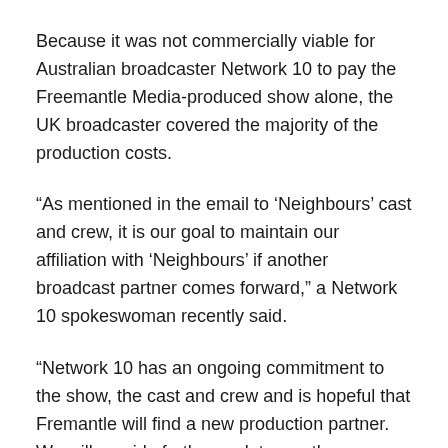Because it was not commercially viable for Australian broadcaster Network 10 to pay the Freemantle Media-produced show alone, the UK broadcaster covered the majority of the production costs.
“As mentioned in the email to ‘Neighbours’ cast and crew, it is our goal to maintain our affiliation with ‘Neighbours’ if another broadcast partner comes forward,” a Network 10 spokeswoman recently said.
“Network 10 has an ongoing commitment to the show, the cast and crew and is hopeful that Fremantle will find a new production partner. We will provide further updates as they become available.”
Natalie Imbruglia, who played Beth Brennan on ‘Neighbours’ from 1992 to 1994, recently expressed her optimism that